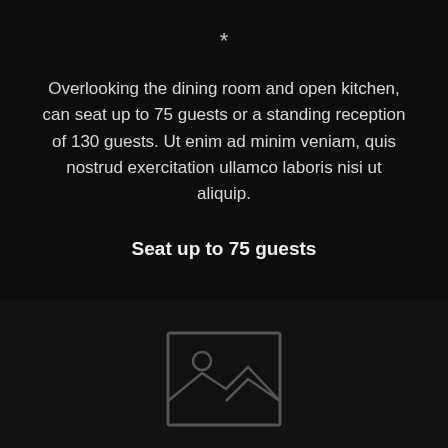*
Overlooking the dining room and open kitchen, can seat up to 75 guests or a standing reception of 130 guests. Ut enim ad minim veniam, quis nostrud exercitation ullamco laboris nisi ut aliquip.
Seat up to 75 guests
[Figure (photo): Image placeholder icon showing mountains and sun on dark background]